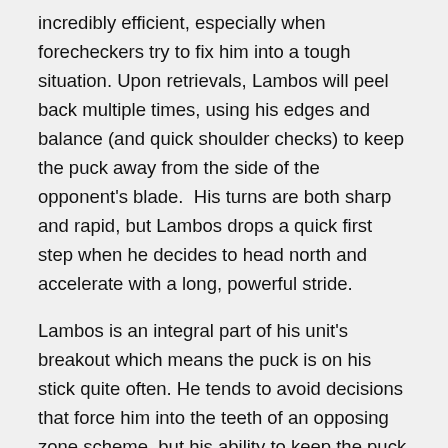incredibly efficient, especially when forecheckers try to fix him into a tough situation. Upon retrievals, Lambos will peel back multiple times, using his edges and balance (and quick shoulder checks) to keep the puck away from the side of the opponent's blade.  His turns are both sharp and rapid, but Lambos drops a quick first step when he decides to head north and accelerate with a long, powerful stride.
Lambos is an integral part of his unit's breakout which means the puck is on his stick quite often. He tends to avoid decisions that force him into the teeth of an opposing zone scheme, but his ability to keep the puck glued to his blade while on the backhand or when making an aforementioned escape turn is critical to his high completion percentage of first passes.
Shooting, Passing and Playmaking
Lambos is a shoot-first defender who has set plays